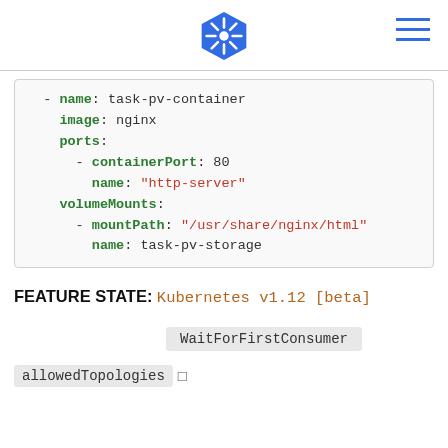Kubernetes logo and navigation menu
- name: task-pv-container
  image: nginx
  ports:
    - containerPort: 80
      name: "http-server"
  volumeMounts:
    - mountPath: "/usr/share/nginx/html"
      name: task-pv-storage
FEATURE STATE: Kubernetes v1.12 [beta]
WaitForFirstConsumer
allowedTopologies